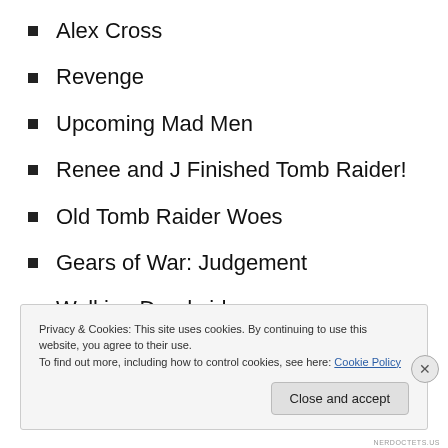Alex Cross
Revenge
Upcoming Mad Men
Renee and J Finished Tomb Raider!
Old Tomb Raider Woes
Gears of War: Judgement
Walking Dead video game
Privacy & Cookies: This site uses cookies. By continuing to use this website, you agree to their use.
To find out more, including how to control cookies, see here: Cookie Policy
NERDOCTETS.US